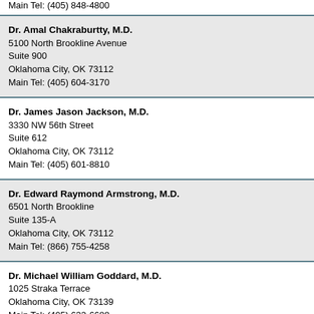Main Tel: (405) 848-4800
Dr. Amal Chakraburtty, M.D.
5100 North Brookline Avenue
Suite 900
Oklahoma City, OK 73112
Main Tel: (405) 604-3170
Dr. James Jason Jackson, M.D.
3330 NW 56th Street
Suite 612
Oklahoma City, OK 73112
Main Tel: (405) 601-8810
Dr. Edward Raymond Armstrong, M.D.
6501 North Brookline
Suite 135-A
Oklahoma City, OK 73112
Main Tel: (866) 755-4258
Dr. Michael William Goddard, M.D.
1025 Straka Terrace
Oklahoma City, OK 73139
Main Tel: (405) 632-6688